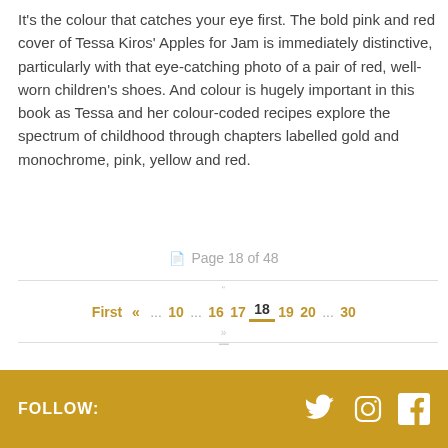It's the colour that catches your eye first. The bold pink and red cover of Tessa Kiros' Apples for Jam is immediately distinctive, particularly with that eye-catching photo of a pair of red, well-worn children's shoes. And colour is hugely important in this book as Tessa and her colour-coded recipes explore the spectrum of childhood through chapters labelled gold and monochrome, pink, yellow and red.
Page 18 of 48
First « ... 10 ... 16 17 18 19 20 ... 30
FOLLOW: